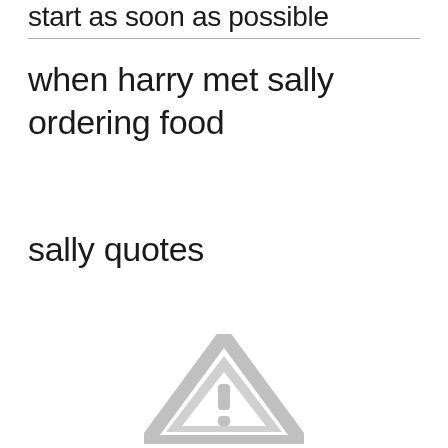start as soon as possible
when harry met sally ordering food
sally quotes
[Figure (illustration): A grey warning/alert triangle icon with an exclamation mark, partially visible at the bottom of the page.]